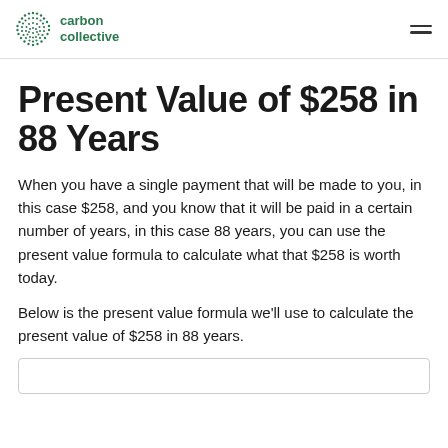carbon collective
Present Value of $258 in 88 Years
When you have a single payment that will be made to you, in this case $258, and you know that it will be paid in a certain number of years, in this case 88 years, you can use the present value formula to calculate what that $258 is worth today.
Below is the present value formula we'll use to calculate the present value of $258 in 88 years.
[Figure (other): Formula box outline at bottom of page]